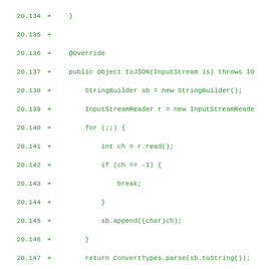[Figure (screenshot): Code diff showing Java source lines 20.134 through 20.165, green colored additions with line numbers and plus signs, showing methods toJSON, runSafe, open, and send with @Override annotations]